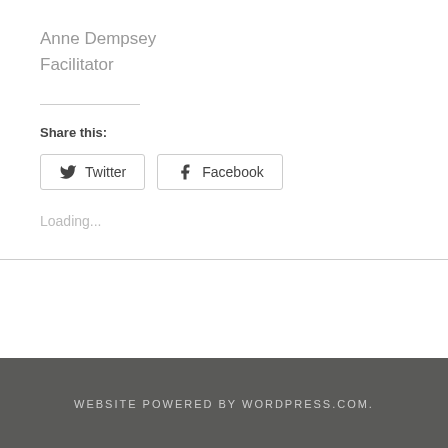Anne Dempsey
Facilitator
Share this:
[Figure (other): Twitter and Facebook share buttons]
Loading...
WEBSITE POWERED BY WORDPRESS.COM.